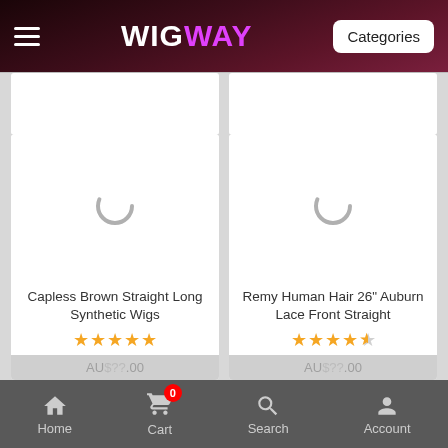WIGWAY — Categories
[Figure (screenshot): Loading spinner placeholder for product image — Capless Brown Straight Long Synthetic Wigs]
Capless Brown Straight Long Synthetic Wigs
[Figure (screenshot): Loading spinner placeholder for product image — Remy Human Hair 26" Auburn Lace Front Straight]
Remy Human Hair 26" Auburn Lace Front Straight
Home  Cart 0  Search  Account